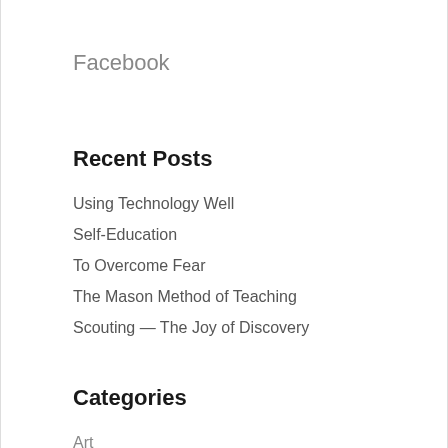Facebook
Recent Posts
Using Technology Well
Self-Education
To Overcome Fear
The Mason Method of Teaching
Scouting — The Joy of Discovery
Categories
Art
Ask Art
Bible